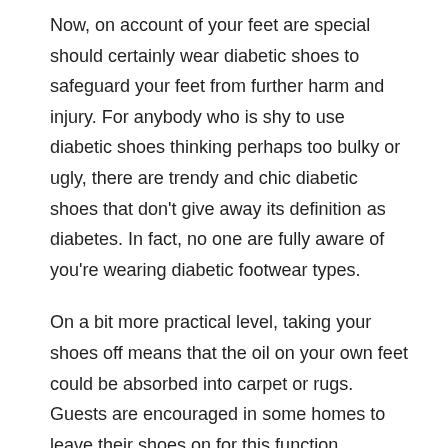Now, on account of your feet are special should certainly wear diabetic shoes to safeguard your feet from further harm and injury. For anybody who is shy to use diabetic shoes thinking perhaps too bulky or ugly, there are trendy and chic diabetic shoes that don't give away its definition as diabetes. In fact, no one are fully aware of you're wearing diabetic footwear types.
On a bit more practical level, taking your shoes off means that the oil on your own feet could be absorbed into carpet or rugs. Guests are encouraged in some homes to leave their shoes on for this function.
I was skeptical. How frequently have you seen the incredible special effects of infomercials? One of the best was the special mop that could wipe up half a cheeseburger, condiments and all. Would these vacuum sealed Bags for garments really cut the mustard?
Since its inception in 1992, the emblem has progressed. There are